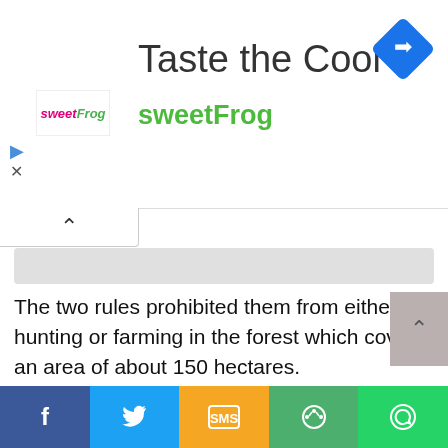[Figure (other): sweetFrog advertisement banner with logo, 'Taste the Cool' title, 'sweetFrog' subtitle in green, and a blue navigation diamond icon]
The two rules prohibited them from either hunting or farming in the forest which covers an area of about 150 hectares.
Romeo explained that Taakora entreated them to consider the animals in the forest as friends and also use the herbs and plants for medicinal purposes.
He said Nana Takyi Fri and his siblings agreed to Taakora’s rules and settled in the caves, stating that Nana Takyi Fri, who did not want to flout the draconian laws of Taakora, decided to move away to a new land where he could hunt
[Figure (other): Social sharing bar with Facebook, Twitter, SMS, Share, and WhatsApp buttons]